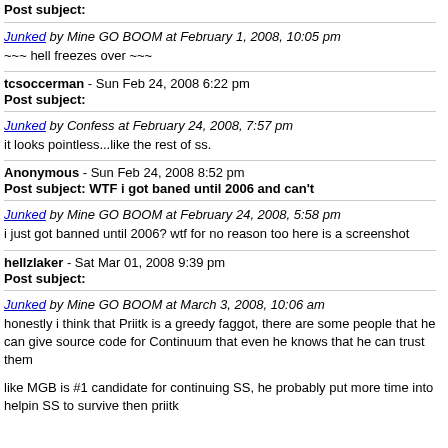Post subject:
Junked by Mine GO BOOM at February 1, 2008, 10:05 pm
~~~ hell freezes over ~~~
tcsoccerman - Sun Feb 24, 2008 6:22 pm
Post subject:
Junked by Confess at February 24, 2008, 7:57 pm
it looks pointless...like the rest of ss.
Anonymous - Sun Feb 24, 2008 8:52 pm
Post subject: WTF i got baned until 2006 and can't
Junked by Mine GO BOOM at February 24, 2008, 5:58 pm
i just got banned until 2006? wtf for no reason too here is a screenshot
hellzlaker - Sat Mar 01, 2008 9:39 pm
Post subject:
Junked by Mine GO BOOM at March 3, 2008, 10:06 am
honestly i think that Priitk is a greedy faggot, there are some people that he can give source code for Continuum that even he knows that he can trust them
like MGB is #1 candidate for continuing SS, he probably put more time into helpin SS to survive then priitk